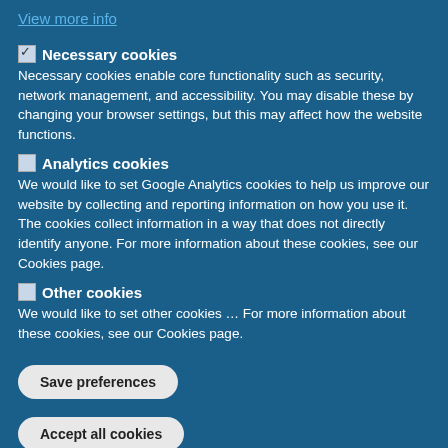View more info
Necessary cookies
Necessary cookies enable core functionality such as security, network management, and accessibility. You may disable these by changing your browser settings, but this may affect how the website functions.
Analytics cookies
We would like to set Google Analytics cookies to help us improve our website by collecting and reporting information on how you use it. The cookies collect information in a way that does not directly identify anyone. For more information about these cookies, see our Cookies page.
Other cookies
We would like to set other cookies … For more information about these cookies, see our Cookies page.
Save preferences
Accept all cookies